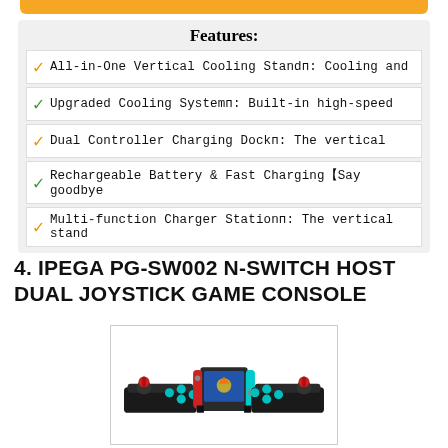Features:
All-in-One Vertical Cooling Standп: Cooling and
Upgraded Cooling Systemп: Built-in high-speed
Dual Controller Charging Dockп: The vertical
Rechargeable Battery & Fast Charging【Say goodbye
Multi-function Charger Stationп: The vertical stand
4. IPEGA PG-SW002 N-SWITCH HOST DUAL JOYSTICK GAME CONSOLE
[Figure (photo): Photo of IPEGA PG-SW002 arcade joystick controller for Nintendo Switch, showing a black arcade-style dual joystick unit with red joysticks and teal/cyan buttons, with a Nintendo Switch console docked in the center displaying a game screen with red and cyan Joy-Con controllers attached.]